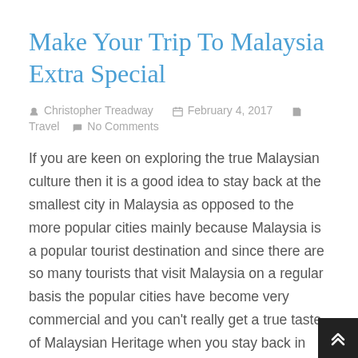Make Your Trip To Malaysia Extra Special
Christopher Treadway  February 4, 2017  Travel  No Comments
If you are keen on exploring the true Malaysian culture then it is a good idea to stay back at the smallest city in Malaysia as opposed to the more popular cities mainly because Malaysia is a popular tourist destination and since there are so many tourists that visit Malaysia on a regular basis the popular cities have become very commercial and you can't really get a true taste of Malaysian Heritage when you stay back in this city.
While there is no harm in booking hotels at Kuala